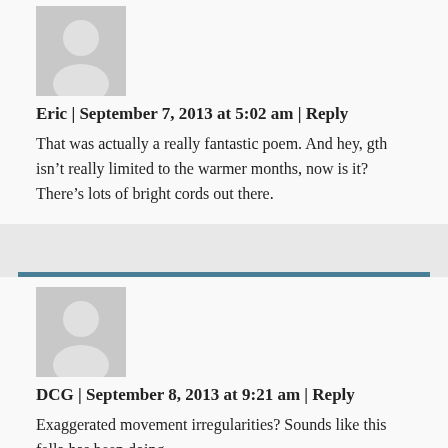[Figure (illustration): Default gray avatar/placeholder person icon for comment author Eric]
Eric | September 7, 2013 at 5:02 am | Reply
That was actually a really fantastic poem. And hey, gth isn’t really limited to the warmer months, now is it? There’s lots of bright cords out there.
[Figure (illustration): Default gray avatar/placeholder person icon for comment author DCG]
DCG | September 8, 2013 at 9:21 am | Reply
Exaggerated movement irregularities? Sounds like this fella has been doing